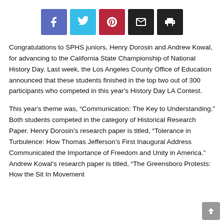[Figure (infographic): Social sharing buttons: Facebook (blue-purple), Twitter (cyan), Pinterest (red), Email (black), Print (black)]
Congratulations to SPHS juniors, Henry Dorosin and Andrew Kowal, for advancing to the California State Championship of National History Day. Last week, the Los Angeles County Office of Education announced that these students finished in the top two out of 300 participants who competed in this year's History Day LA Contest.
This year's theme was, “Communication: The Key to Understanding.” Both students competed in the category of Historical Research Paper. Henry Dorosin’s research paper is titled, “Tolerance in Turbulence: How Thomas Jefferson’s First Inaugural Address Communicated the Importance of Freedom and Unity in America.” Andrew Kowal’s research paper is titled, “The Greensboro Protests: How the Sit In Movement